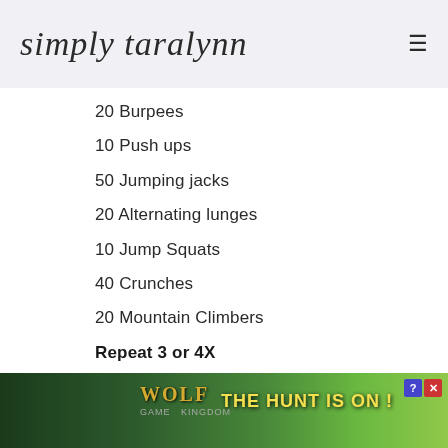simply taralynn
20 Burpees
10 Push ups
50 Jumping jacks
20 Alternating lunges
10 Jump Squats
40 Crunches
20 Mountain Climbers
Repeat 3 or 4X
*Stretch 10-15 Minutes
[Figure (photo): Wolf Game advertisement banner — THE HUNT IS ON! with wolves in a field]